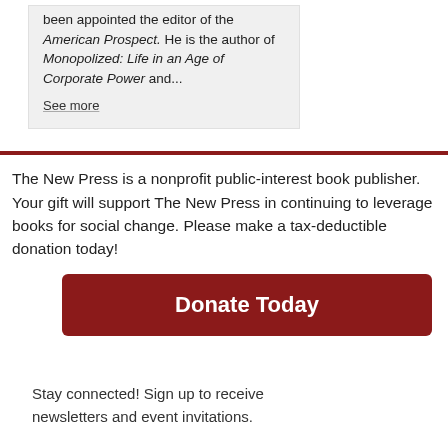been appointed the editor of the American Prospect. He is the author of Monopolized: Life in an Age of Corporate Power and...
See more
The New Press is a nonprofit public-interest book publisher. Your gift will support The New Press in continuing to leverage books for social change. Please make a tax-deductible donation today!
[Figure (other): Red donate button with text 'Donate Today']
Stay connected! Sign up to receive newsletters and event invitations.